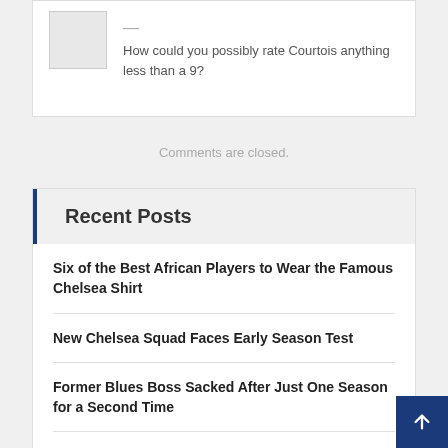How could you possibly rate Courtois anything less than a 9?
Comments are closed.
Recent Posts
Six of the Best African Players to Wear the Famous Chelsea Shirt
New Chelsea Squad Faces Early Season Test
Former Blues Boss Sacked After Just One Season for a Second Time
Chelsea Striker Abraham Reveals Three Inspirational Players